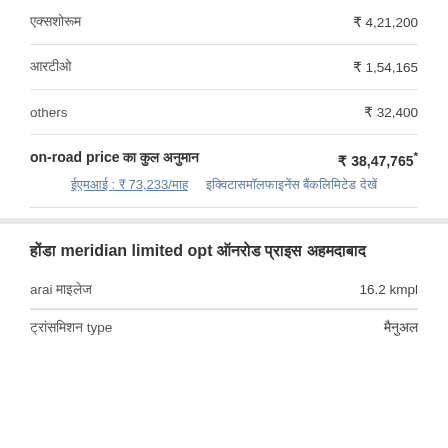एक्सशोरूम ₹ 4,21,200
आरटीओ ₹ 1,54,165
others ₹ 32,400
on-road price का कुल अनुमान ₹ 38,47,765*
ईएमआई : ₹ 73,233/माह   इक्विटासमॉलफाइनेंस बैंकलिमिटेड देखें
होंडा meridian limited opt ऑनरोड प्राइस अहमदाबाद
arai माइलेज 16.2 kmpl
ट्रांसमिशन type मैनुअल